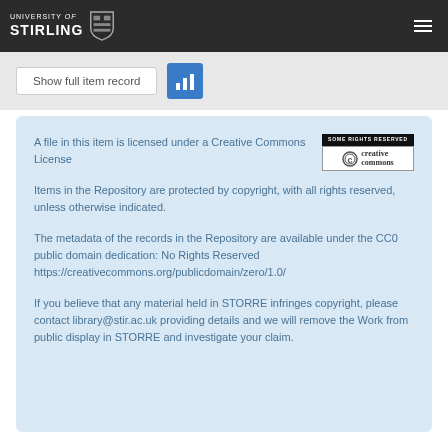UNIVERSITY of STIRLING
Show full item record
A file in this item is licensed under a Creative Commons License

Items in the Repository are protected by copyright, with all rights reserved, unless otherwise indicated.

The metadata of the records in the Repository are available under the CC0 public domain dedication: No Rights Reserved https://creativecommons.org/publicdomain/zero/1.0/

If you believe that any material held in STORRE infringes copyright, please contact library@stir.ac.uk providing details and we will remove the Work from public display in STORRE and investigate your claim.